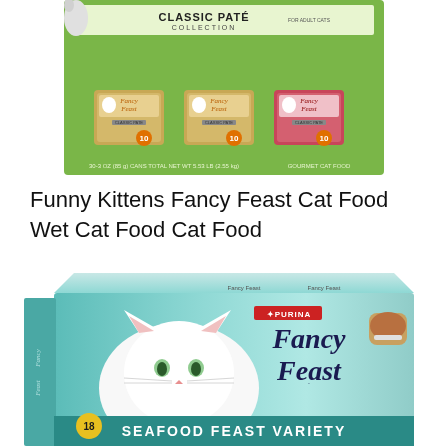[Figure (photo): Fancy Feast Classic Paté Collection box showing 30 cans (3oz each), total net weight 5.53 LB (2.55 kg), Gourmet Cat Food, with three varieties of cans shown on the front.]
Funny Kittens Fancy Feast Cat Food Wet Cat Food Cat Food
[Figure (photo): Purina Fancy Feast Seafood Feast Variety multipack box featuring a white cat with green eyes on the front, with the Fancy Feast logo in cursive script and 'SEAFOOD FEAST VARIETY' text at the bottom.]